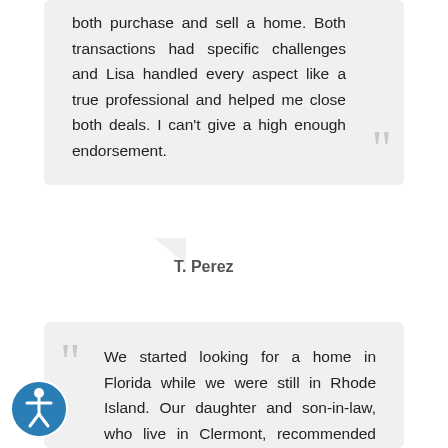both purchase and sell a home. Both transactions had specific challenges and Lisa handled every aspect like a true professional and helped me close both deals. I can't give a high enough endorsement.
T. Perez
We started looking for a home in Florida while we were still in Rhode Island. Our daughter and son-in-law, who live in Clermont, recommended Lisa as our real estate agent. We contacted her, and our dealings with her were by telephone, e-mail, and fax. Lisa submitted numerous listings to us via e-mail. We made an offer in May on the home at 1834 Summit Oaks Circle in Minneola, and we closed on the home in July. During all of this